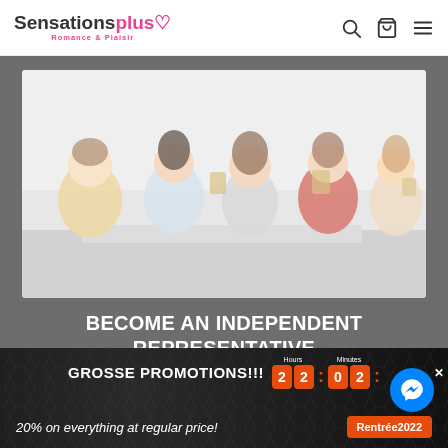[Figure (logo): Sensationsplus Romance & Plaisir logo in black and pink]
[Figure (photo): Group of five women sitting together laughing and talking in a bright white room with vintage phones]
BECOME AN INDEPENDENT REPRESENTATIVE
A dream job! Getting paid to play with sex toys...
GROSSE PROMOTIONS!!!
22:02:
20% on everything at regular price!
Rentrée2022